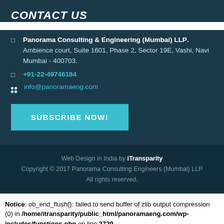CONTACT US
Panorama Consulting & Engineering (Mumbai) LLP. Ambience court, Suite 1601, Phase 2, Sector 19E, Vashi, Navi Mumbai - 400703.
+91-22-49746184
info@panoramaeng.com
SUBSCRIBE NOW!
Web Design in India by iTransparity
Copyright © 2017 Panorama Consulting Engineers (Mumbai) LLP All rights reserved.
Notice: ob_end_flush(): failed to send buffer of zlib output compression (0) in /home/itransparity/public_html/panoramaeng.com/wp-includes/functions.php on line 3729